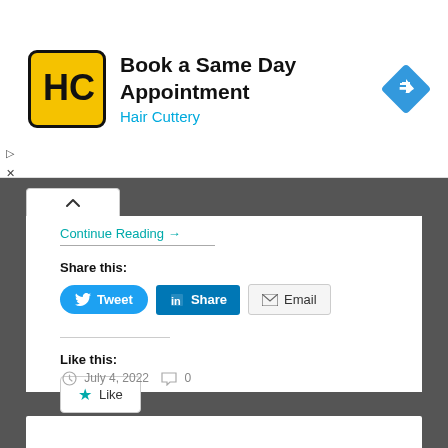[Figure (other): Hair Cuttery advertisement banner with logo, title 'Book a Same Day Appointment', subtitle 'Hair Cuttery', and a blue diamond navigation icon]
Continue Reading →
Share this:
[Figure (other): Social share buttons: Tweet (Twitter blue), Share (LinkedIn blue), Email (grey outline)]
Like this:
[Figure (other): Like button with teal star icon and 'Like' label]
Be the first to like this.
July 4, 2022   0